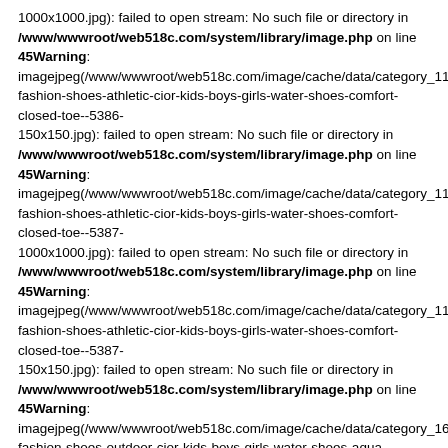1000x1000.jpg): failed to open stream: No such file or directory in /www/wwwroot/web518c.com/system/library/image.php on line 45Warning: imagejpeg(/www/wwwroot/web518c.com/image/cache/data/category_11/girls-fashion-shoes-athletic-cior-kids-boys-girls-water-shoes-comfort-closed-toe--5386-150x150.jpg): failed to open stream: No such file or directory in /www/wwwroot/web518c.com/system/library/image.php on line 45Warning: imagejpeg(/www/wwwroot/web518c.com/image/cache/data/category_11/girls-fashion-shoes-athletic-cior-kids-boys-girls-water-shoes-comfort-closed-toe--5387-1000x1000.jpg): failed to open stream: No such file or directory in /www/wwwroot/web518c.com/system/library/image.php on line 45Warning: imagejpeg(/www/wwwroot/web518c.com/image/cache/data/category_11/girls-fashion-shoes-athletic-cior-kids-boys-girls-water-shoes-comfort-closed-toe--5387-150x150.jpg): failed to open stream: No such file or directory in /www/wwwroot/web518c.com/system/library/image.php on line 45Warning: imagejpeg(/www/wwwroot/web518c.com/image/cache/data/category_16/girls-fashion-shoes-outdoor-cior-kids-boys-girls-water-shoes-aqua-athletic-sneake-942-400x400.jpg): failed to open stream: No such file or directory in /www/wwwroot/web518c.com/system/library/image.php on line 45Warning: imagejpeg(/www/wwwroot/web518c.com/image/cache/data/category_16/girls-fashion-shoes-outdoor-boys-and-girls-water-shoes-lightweight-comfort-sole-eas-1189-400x400.jpg): failed to open stream: No such file or directory in /www/wwwroot/web518c.com/system/library/image.php on line 45Warning: